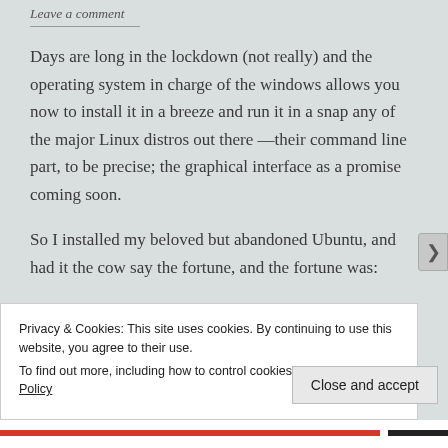Leave a comment
Days are long in the lockdown (not really) and the operating system in charge of the windows allows you now to install it in a breeze and run it in a snap any of the major Linux distros out there —their command line part, to be precise; the graphical interface as a promise coming soon.
So I installed my beloved but abandoned Ubuntu, and had it the cow say the fortune, and the fortune was:
Privacy & Cookies: This site uses cookies. By continuing to use this website, you agree to their use.
To find out more, including how to control cookies, see here: Cookie Policy